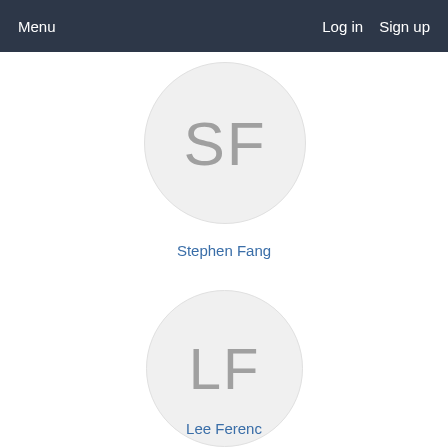Menu   Log in   Sign up
[Figure (illustration): Circular avatar with initials SF (Stephen Fang) on light gray background]
Stephen Fang
[Figure (illustration): Circular avatar with initials LF (Lee Ferenc) on light gray background]
Lee Ferenc